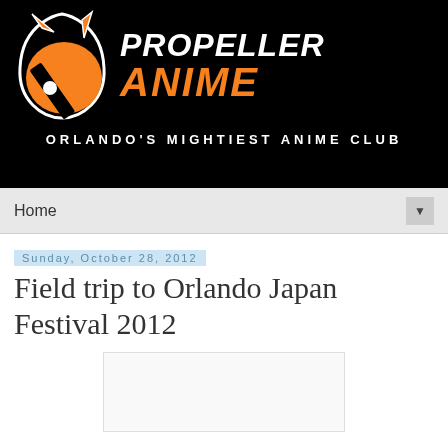[Figure (logo): Propeller Anime logo — black background with orange anime cat/propeller mascot icon on left, 'PROPELLER' in white bold italic text and 'ANIME' in large orange bold italic text on right, tagline 'ORLANDO'S MIGHTIEST ANIME CLUB' in white spaced caps at bottom]
Home
Sunday, October 28, 2012
Field trip to Orlando Japan Festival 2012
[Figure (photo): Partially visible image placeholder at bottom of page]